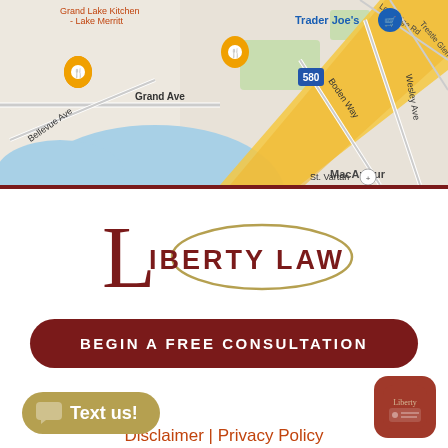[Figure (map): Google Maps screenshot showing area around Grand Ave, Bellevue Ave, Boden Way, Wesley Ave, MacArthur Blvd in Oakland near Lake Merritt. Shows freeway 580, Trader Joe's marker, restaurant markers, St. Vartan location.]
[Figure (logo): Liberty Law logo — large serif L with 'IBERTY LAW' in bold caps, gold oval arc around text]
BEGIN A FREE CONSULTATION
Disclaimer | Privacy Policy
© 2022 Liberty Law Office, Inc. All rights reserved. Site by Obu Interactive